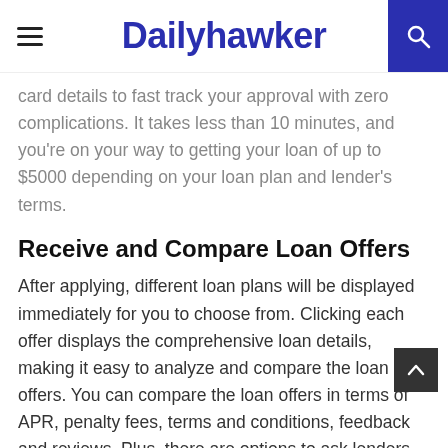Dailyhawker
card details to fast track your approval with zero complications. It takes less than 10 minutes, and you're on your way to getting your loan of up to $5000 depending on your loan plan and lender's terms.
Receive and Compare Loan Offers
After applying, different loan plans will be displayed immediately for you to choose from. Clicking each offer displays the comprehensive loan details, making it easy to analyze and compare the loan offers. You can compare the loan offers in terms of APR, penalty fees, terms and conditions, feedback and reviews. Plus, there are options to ask lenders questions for clarity.
Sign the Agreement